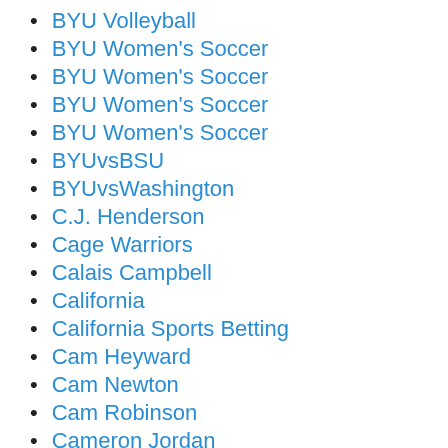BYU Volleyball
BYU Women's Soccer
BYU Women's Soccer
BYU Women's Soccer
BYU Women's Soccer
BYUvsBSU
BYUvsWashington
C.J. Henderson
Cage Warriors
Calais Campbell
California
California Sports Betting
Cam Heyward
Cam Newton
Cam Robinson
Cameron Jordan